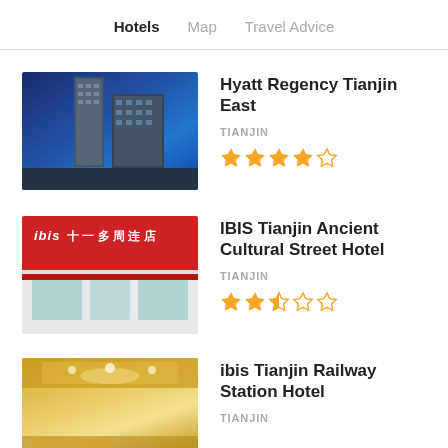Hotels  Map  Travel Advice
Hyatt Regency Tianjin East
TIANJIN
★★★★☆
[Figure (photo): Exterior photo of Hyatt Regency Tianjin East hotel at dusk with blue sky and city buildings]
IBIS Tianjin Ancient Cultural Street Hotel
TIANJIN
★★½☆☆
[Figure (photo): Exterior photo of IBIS Tianjin Ancient Cultural Street Hotel with red facade and signage]
ibis Tianjin Railway Station Hotel
TIANJIN
[Figure (photo): Interior lobby photo of ibis Tianjin Railway Station Hotel with warm lighting]